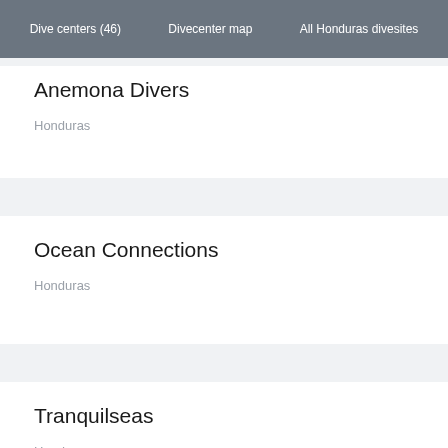Dive centers (46)   Divecenter map   All Honduras divesites
Anemona Divers
Honduras
Ocean Connections
Honduras
Tranquilseas
Honduras